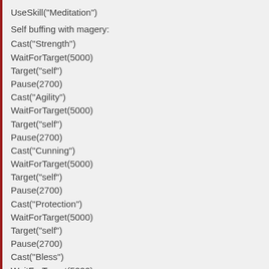UseSkill("Meditation")
Self buffing with magery:
Cast("Strength")
WaitForTarget(5000)
Target("self")
Pause(2700)
Cast("Agility")
WaitForTarget(5000)
Target("self")
Pause(2700)
Cast("Cunning")
WaitForTarget(5000)
Target("self")
Pause(2700)
Cast("Protection")
WaitForTarget(5000)
Target("self")
Pause(2700)
Cast("Bless")
WaitForTarget(5000)
Target("self")
Pause(2700)
Cast("Polymorph")
Pause(2000)